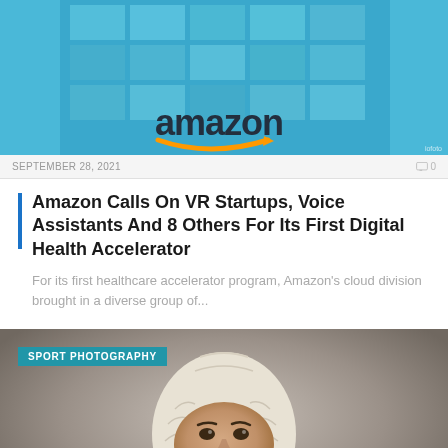[Figure (photo): Amazon building exterior with blue glass facade and Amazon logo with orange arrow visible at top]
SEPTEMBER 28, 2021
0
Amazon Calls On VR Startups, Voice Assistants And 8 Others For Its First Digital Health Accelerator
For its first healthcare accelerator program, Amazon's cloud division brought in a diverse group of...
[Figure (photo): Sport photography: racing driver wearing white balaclava/head covering and red racing suit, looking intensely to the side]